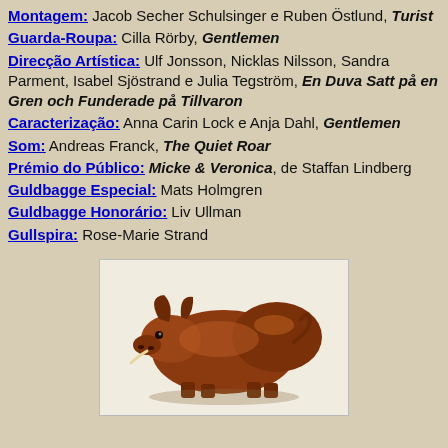Montagem: Jacob Secher Schulsinger e Ruben Östlund, Turist
Guarda-Roupa: Cilla Rörby, Gentlemen
Direcção Artística: Ulf Jonsson, Nicklas Nilsson, Sandra Parment, Isabel Sjöstrand e Julia Tegström, En Duva Satt på en Gren och Funderade på Tillvaron
Caracterização: Anna Carin Lock e Anja Dahl, Gentlemen
Som: Andreas Franck, The Quiet Roar
Prémio do Público: Micke & Veronica, de Staffan Lindberg
Guldbagge Especial: Mats Holmgren
Guldbagge Honorário: Liv Ullman
Gullspira: Rose-Marie Strand
[Figure (photo): Bronze or copper sculpture of a pig/boar lying down, the Gullspira award trophy]